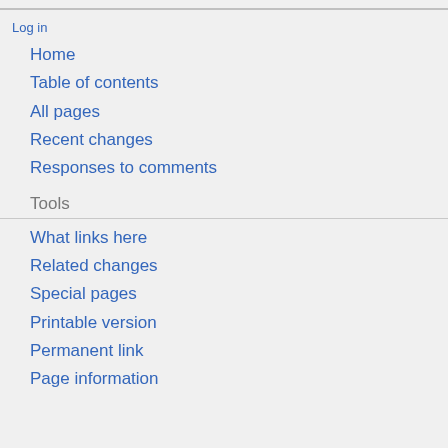Log in
Home
Table of contents
All pages
Recent changes
Responses to comments
Tools
What links here
Related changes
Special pages
Printable version
Permanent link
Page information